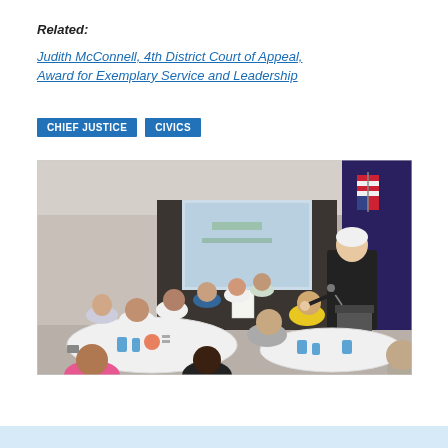Related:
Judith McConnell, 4th District Court of Appeal, Award for Exemplary Service and Leadership
CHIEF JUSTICE
CIVICS
[Figure (photo): A woman in judicial robes speaks at a podium in a banquet hall while students and adults sit at round tables in the foreground. A large presentation screen is visible in the background along with an American flag.]